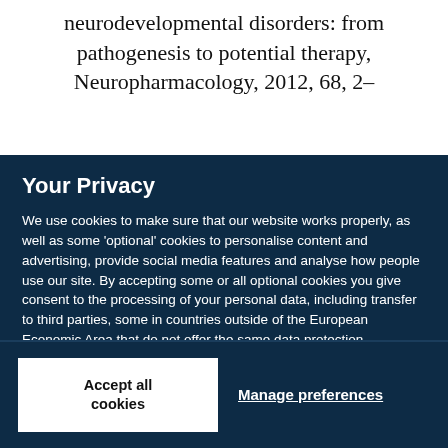neurodevelopmental disorders: from pathogenesis to potential therapy, Neuropharmacology, 2012, 68, 2–
Your Privacy
We use cookies to make sure that our website works properly, as well as some 'optional' cookies to personalise content and advertising, provide social media features and analyse how people use our site. By accepting some or all optional cookies you give consent to the processing of your personal data, including transfer to third parties, some in countries outside of the European Economic Area that do not offer the same data protection standards as the country where you live. You can decide which optional cookies to accept by clicking on 'Manage Settings', where you can also find more information about how your personal data is processed. Further information can be found in our privacy policy.
Accept all cookies
Manage preferences